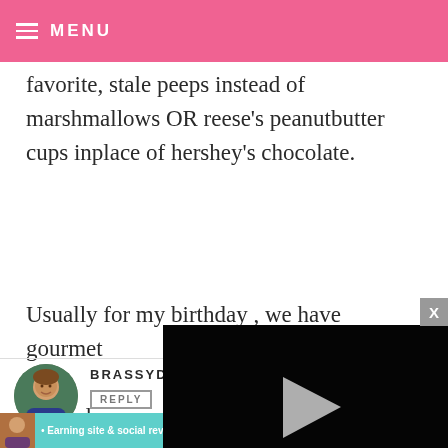MENU
favorite, stale peeps instead of marshmallows OR reese's peanutbutter cups inplace of hershey's chocolate.
Usually for my birthday , we have gourmet instead o
[Figure (screenshot): Embedded video player with black background, play button, progress bar showing 13:52, and controls including mute, CC, grid, settings, and fullscreen buttons. An X close button is in the top right corner.]
[Figure (photo): Avatar photo of a young man with brown hair outdoors]
BRASSYD
REPLY
[Figure (infographic): Teal advertisement banner: Earning site & social revenue • SHE PARTNER NETWORK BECOME A MEMBER with LEARN MORE button]